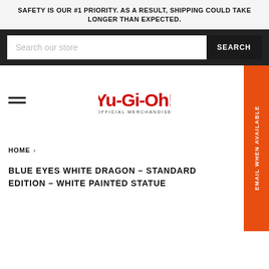SAFETY IS OUR #1 PRIORITY. AS A RESULT, SHIPPING COULD TAKE LONGER THAN EXPECTED.
[Figure (screenshot): Search bar with placeholder text 'Search our store' and a SEARCH button on dark background]
[Figure (logo): Yu-Gi-Oh! Official Merchandise logo with stylized red text and kanji, subtitle OFFICIAL MERCHANDISE]
[Figure (infographic): Orange EMAIL WHEN AVAILABLE vertical sidebar tab on right side]
HOME ›
BLUE EYES WHITE DRAGON – STANDARD EDITION – WHITE PAINTED STATUE